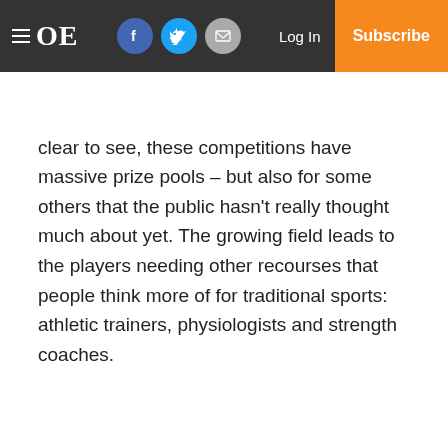≡ OE  [facebook] [twitter] [email]  Log In  Subscribe
clear to see, these competitions have massive prize pools – but also for some others that the public hasn't really thought much about yet. The growing field leads to the players needing other recourses that people think more of for traditional sports: athletic trainers, physiologists and strength coaches.